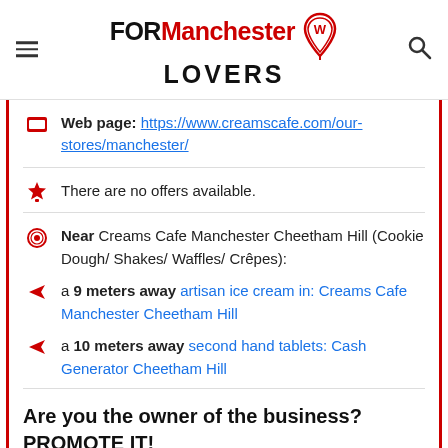FOR Manchester LOVERS
Web page: https://www.creamscafe.com/our-stores/manchester/
There are no offers available.
Near Creams Cafe Manchester Cheetham Hill (Cookie Dough/ Shakes/ Waffles/ Crêpes):
a 9 meters away artisan ice cream in: Creams Cafe Manchester Cheetham Hill
a 10 meters away second hand tablets: Cash Generator Cheetham Hill
Are you the owner of the business? PROMOTE IT!